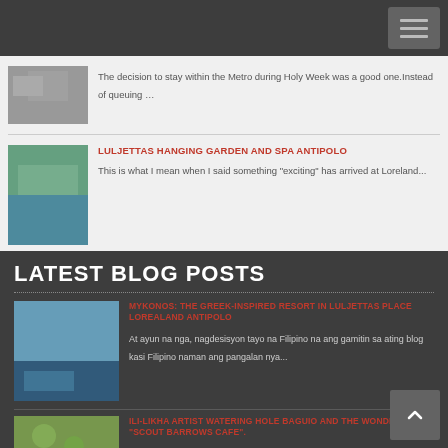Navigation header with hamburger menu button
The decision to stay within the Metro during Holy Week was a good one.Instead of queuing …
LULJETTAS HANGING GARDEN AND SPA ANTIPOLO
This  is what I mean when I said something "exciting" has arrived at  Loreland...
LATEST BLOG POSTS
MYKONOS: THE GREEK-INSPIRED RESORT IN LULJETTAS PLACE LOREALAND ANTIPOLO
At ayun na nga, nagdesisyon tayo na Filipino na ang gamitin sa ating blog kasi Filipino naman ang pangalan nya...
ILI-LIKHA ARTIST WATERING HOLE BAGUIO AND THE WONDERFUL "SCOUT BARROWS CAFE".
Combining the attractions it remains to check accessibility of Oh M...